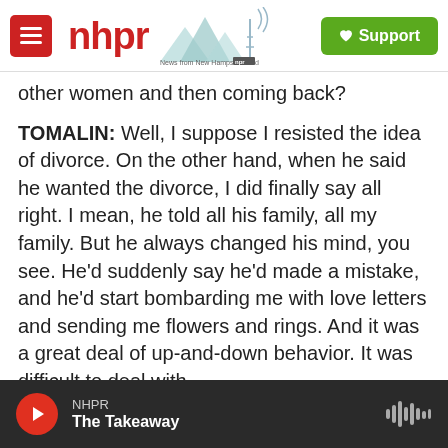NHPR — News from New Hampshire and NPR | Support
other women and then coming back?
TOMALIN: Well, I suppose I resisted the idea of divorce. On the other hand, when he said he wanted the divorce, I did finally say all right. I mean, he told all his family, all my family. But he always changed his mind, you see. He'd suddenly say he'd made a mistake, and he'd start bombarding me with love letters and sending me flowers and rings. And it was a great deal of up-and-down behavior. It was difficult to deal with.
But what I felt in the end over these periods of
NHPR — The Takeaway